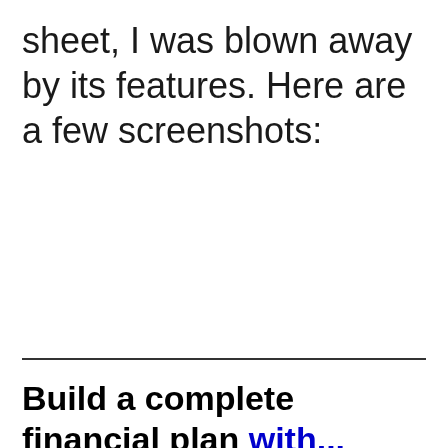sheet, I was blown away by its features. Here are a few screenshots:
Build a complete financial plan with...